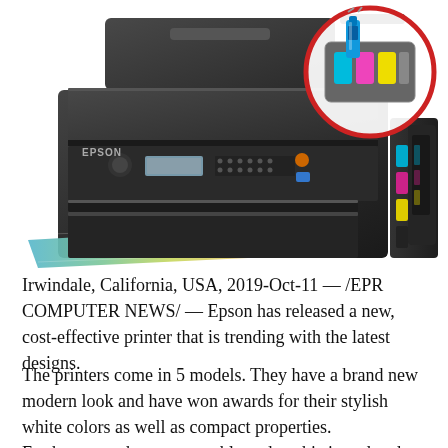[Figure (photo): Photo of an Epson all-in-one inkjet printer (black) with paper output tray showing a printed colorful photo. A circular red-bordered callout in the upper right shows a close-up of the ink tank area with ink bottles.]
Irwindale, California, USA, 2019-Oct-11 — /EPR COMPUTER NEWS/ — Epson has released a new, cost-effective printer that is trending with the latest designs.
The printers come in 5 models. They have a brand new modern look and have won awards for their stylish white colors as well as compact properties. Furthermore, they are portable and sophisticated and redesigned for customer satisfaction. These printers, ideal for both personal use and businesses, have been